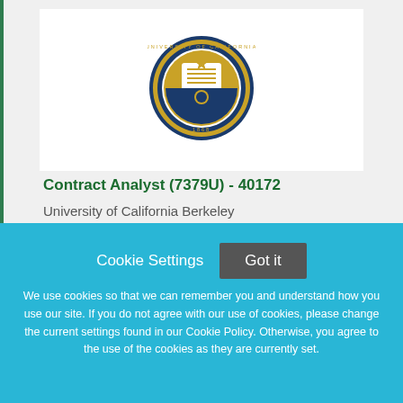[Figure (logo): University of California seal/logo on white background within a gray content area]
Contract Analyst (7379U) - 40172
University of California Berkeley
Cookie Settings
Got it
We use cookies so that we can remember you and understand how you use our site. If you do not agree with our use of cookies, please change the current settings found in our Cookie Policy. Otherwise, you agree to the use of the cookies as they are currently set.